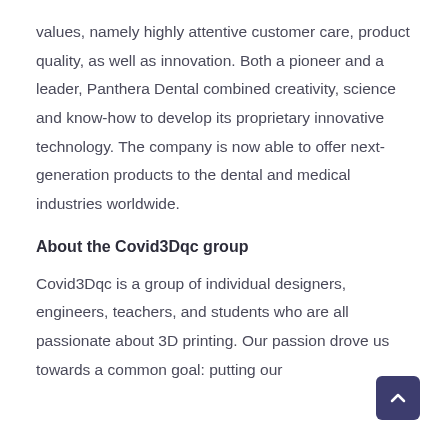values, namely highly attentive customer care, product quality, as well as innovation. Both a pioneer and a leader, Panthera Dental combined creativity, science and know-how to develop its proprietary innovative technology. The company is now able to offer next-generation products to the dental and medical industries worldwide.
About the Covid3Dqc group
Covid3Dqc is a group of individual designers, engineers, teachers, and students who are all passionate about 3D printing. Our passion drove us towards a common goal: putting our